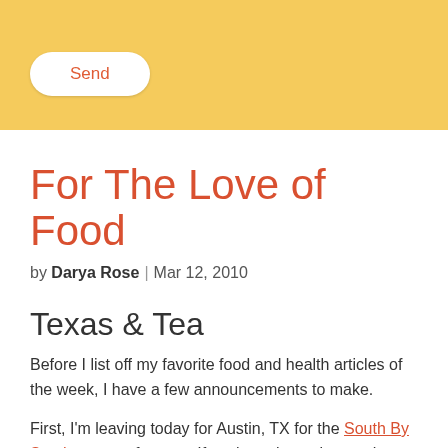[Figure (other): Yellow/gold header bar with a rounded white Send button]
For The Love of Food
by Darya Rose | Mar 12, 2010
Texas & Tea
Before I list off my favorite food and health articles of the week, I have a few announcements to make.
First, I'm leaving today for Austin, TX for the South By Southwest conference. If you're going to be out there feel free to email or tweet me. I'd love to meet you. While